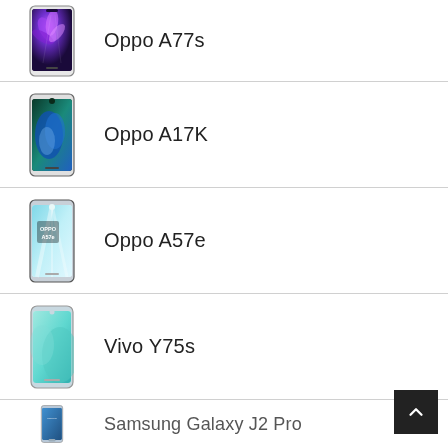Oppo A77s
Oppo A17K
Oppo A57e
Vivo Y75s
Samsung Galaxy J2 Pro